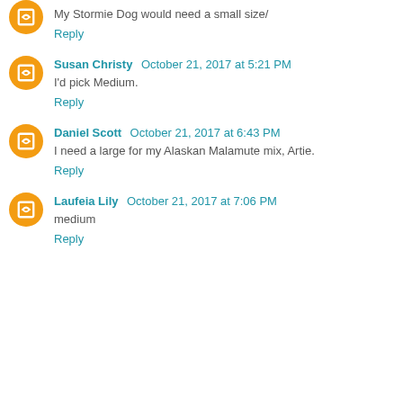My Stormie Dog would need a small size/
Reply
Susan Christy October 21, 2017 at 5:21 PM
I'd pick Medium.
Reply
Daniel Scott October 21, 2017 at 6:43 PM
I need a large for my Alaskan Malamute mix, Artie.
Reply
Laufeia Lily October 21, 2017 at 7:06 PM
medium
Reply